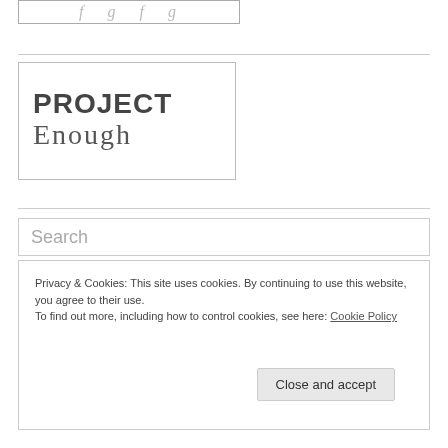[Figure (logo): Decorative script/cursive logo with light gray italic text in a bordered rectangle at top]
[Figure (logo): Project Enough logo: bold uppercase PROJECT above serif Enough, inside a bordered rectangle]
Search
Privacy & Cookies: This site uses cookies. By continuing to use this website, you agree to their use. To find out more, including how to control cookies, see here: Cookie Policy
Close and accept